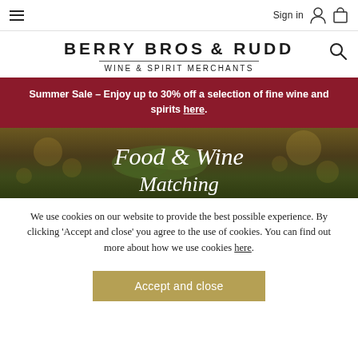Berry Bros & Rudd – Wine & Spirit Merchants
Summer Sale – Enjoy up to 30% off a selection of fine wine and spirits here
[Figure (photo): Hero image showing Food & Wine Matching text over a background of herbs and bokeh lights]
We use cookies on our website to provide the best possible experience. By clicking 'Accept and close' you agree to the use of cookies. You can find out more about how we use cookies here
Accept and close